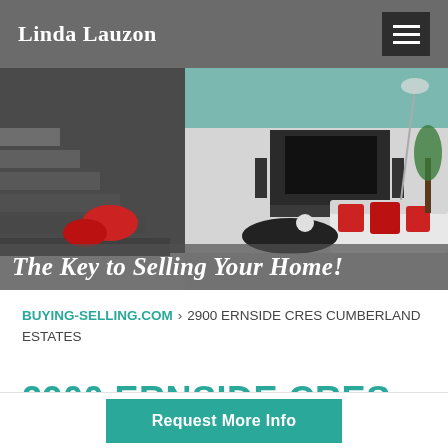Linda Lauzon
[Figure (photo): Interior modern living room / home design photo with text overlay 'The Key to Selling Your Home!']
BUYING-SELLING.COM › 2900 ERNSIDE CRES CUMBERLAND ESTATES
2900 ERNSIDE CRES
Request More Info